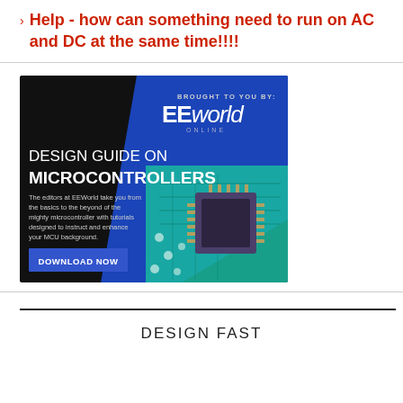Help - how can something need to run on AC and DC at the same time!!!!
[Figure (illustration): EEWorld advertisement for Design Guide on Microcontrollers. Dark background with circuit board and microchip image. Text: BROUGHT TO YOU BY: EEWorld ONLINE. DESIGN GUIDE ON MICROCONTROLLERS. The editors at EEWorld take you from the basics to the beyond of the mighty microcontroller with tutorials designed to instruct and enhance your MCU background. DOWNLOAD NOW button.]
DESIGN FAST